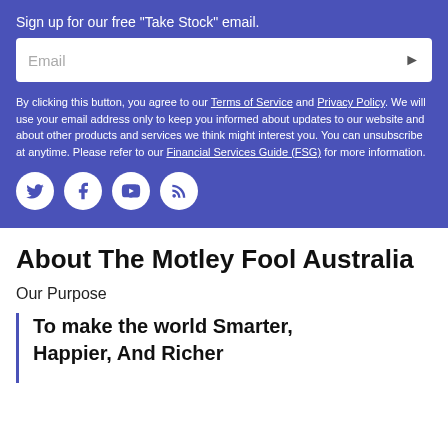Sign up for our free "Take Stock" email.
Email
By clicking this button, you agree to our Terms of Service and Privacy Policy. We will use your email address only to keep you informed about updates to our website and about other products and services we think might interest you. You can unsubscribe at anytime. Please refer to our Financial Services Guide (FSG) for more information.
[Figure (infographic): Social media icons: Twitter, Facebook, YouTube, RSS feed — white icons on white circles, blue background]
About The Motley Fool Australia
Our Purpose
To make the world Smarter, Happier, And Richer